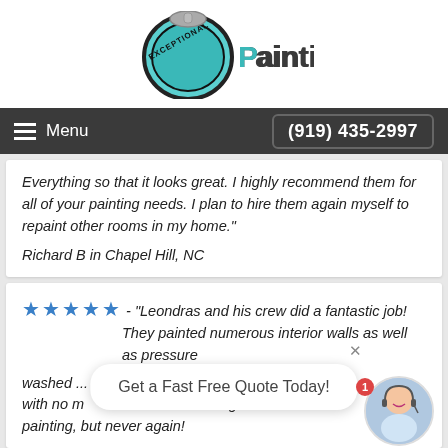[Figure (logo): Exceptional Painting logo with teal button/seal graphic and stylized text 'Painting']
Menu | (919) 435-2997
Everything so that it looks great. I highly recommend them for all of your painting needs. I plan to hire them again myself to repaint other rooms in my home."
Richard B in Chapel Hill, NC
★★★★★ - "Leondras and his crew did a fantastic job! They painted numerous interior walls as well as pressure [washed] ... with no m[ess] ... painting, but never again!
Get a Fast Free Quote Today!